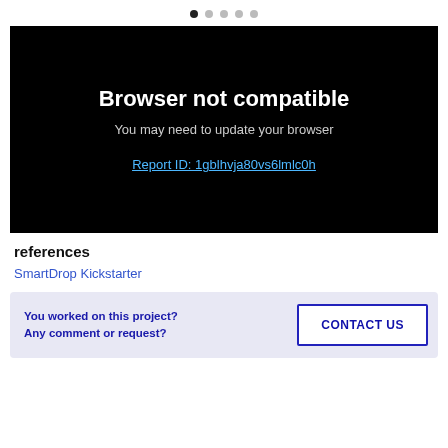[Figure (screenshot): Browser not compatible error screen with black background, bold white title 'Browser not compatible', grey subtitle 'You may need to update your browser', and blue underlined link 'Report ID: 1gblhvja80vs6lmlc0h']
references
SmartDrop Kickstarter
You worked on this project? Any comment or request?
CONTACT US